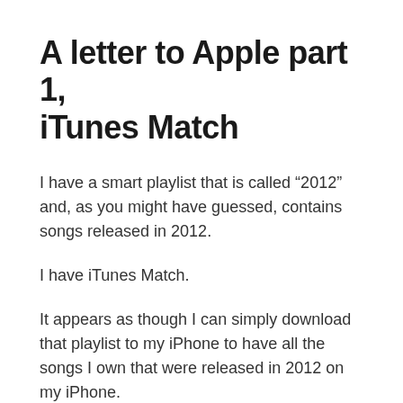A letter to Apple part 1, iTunes Match
I have a smart playlist that is called “2012” and, as you might have guessed, contains songs released in 2012.
I have iTunes Match.
It appears as though I can simply download that playlist to my iPhone to have all the songs I own that were released in 2012 on my iPhone.
This action does not work. That’s because the playlist, when viewed through Music on my phone, contains 300